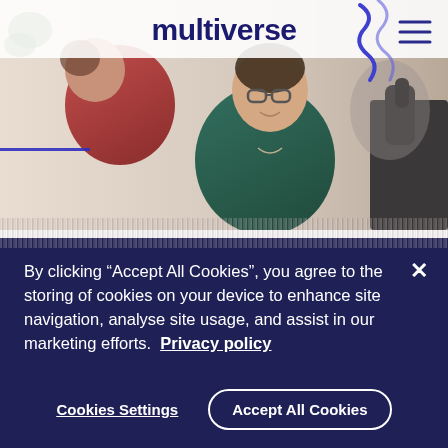[Figure (photo): Photo of two young people — one in a red hoodie, one in a green shirt wearing glasses — in conversation, with a microphone visible on the right. The Multiverse logo in dark navy text appears at the top center, with a decorative blue squiggle in the top right and a hamburger menu icon.]
By clicking "Accept All Cookies", you agree to the storing of cookies on your device to enhance site navigation, analyse site usage, and assist in our marketing efforts.  Privacy policy
Cookies Settings
Accept All Cookies